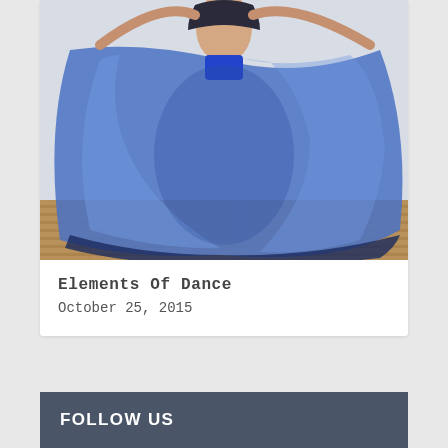[Figure (photo): A belly dancer holding up a large blue sheer veil/fabric, wearing a dark crop top and blue shorts, photographed against a white background with wooden floor visible at bottom.]
Elements Of Dance
October 25, 2015
FOLLOW US